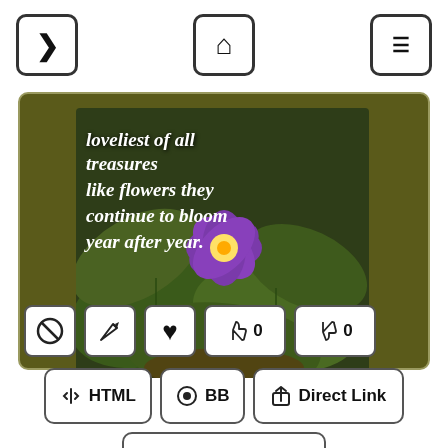[Figure (screenshot): Navigation bar with three buttons: forward arrow, home icon, and menu/hamburger icon]
[Figure (photo): Photo of purple violet flower with green leaves, overlaid with white italic text: 'loveliest of all treasures like flowers they continue to bloom year after year.']
loveliest of all treasures like flowers they continue to bloom year after year.
[Figure (screenshot): Row of icon buttons: ban/circle-slash, pencil/edit, heart, thumbs-up with 0, thumbs-down with 0]
[Figure (screenshot): Action buttons row: HTML (download icon), BB (circle icon), Direct Link (font/flag icon)]
[Figure (screenshot): Share button with share icon]
[Figure (screenshot): Second card section with yellow play button and 'How Are You' navigation button with left arrow]